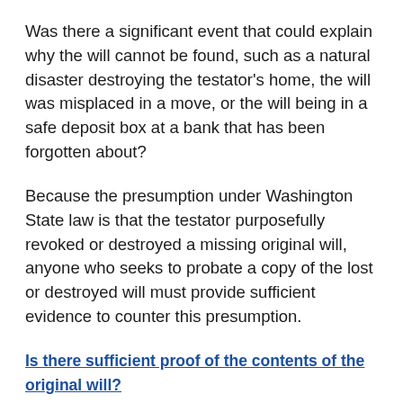Was there a significant event that could explain why the will cannot be found, such as a natural disaster destroying the testator's home, the will was misplaced in a move, or the will being in a safe deposit box at a bank that has been forgotten about?
Because the presumption under Washington State law is that the testator purposefully revoked or destroyed a missing original will, anyone who seeks to probate a copy of the lost or destroyed will must provide sufficient evidence to counter this presumption.
Is there sufficient proof of the contents of the original will?
In addition to proving the proper execution of the original will and overcoming the presumption that the testator did not intentionally revoke or destroy the will, a person seeking to admit a copy of a lost or destroyed will into probate must also prove the contents of the will (what did